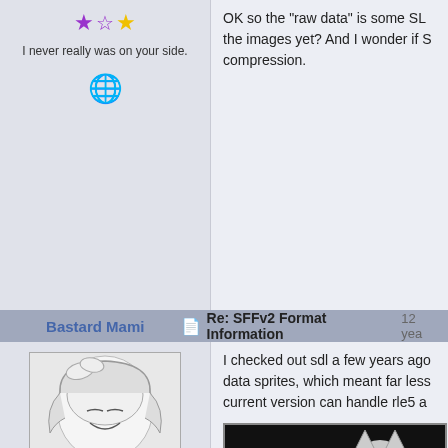[Figure (other): Star rating icons: one purple star, one outlined star, one yellow star]
I never really was on your side.
[Figure (other): Globe/world icon emoji]
Bastard Mami   Re: SFFv2 Format Information  12 yea
[Figure (illustration): Anime avatar illustration of a white-haired girl with bow, smiling, black and white sketch style]
[Figure (other): Six star rating icons: one purple, five yellow]
[E]
[Figure (other): Mexican flag emoji]
I checked out sdl a few years ago data sprites, which meant far less current version can handle rle5 a
[Figure (illustration): Black and white anime image showing two characters, one with cat ears, against a black background with a camera watermark icon]